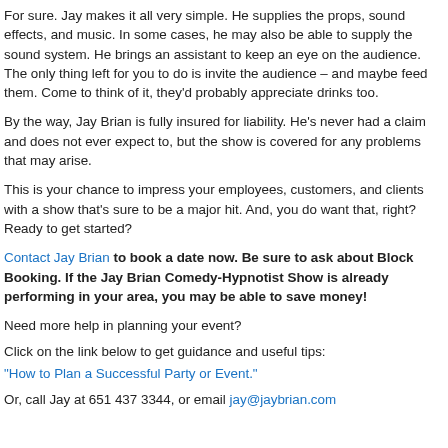For sure. Jay makes it all very simple. He supplies the props, sound effects, and music. In some cases, he may also be able to supply the sound system. He brings an assistant to keep an eye on the audience. The only thing left for you to do is invite the audience – and maybe feed them. Come to think of it, they'd probably appreciate drinks too.
By the way, Jay Brian is fully insured for liability. He's never had a claim and does not ever expect to, but the show is covered for any problems that may arise.
This is your chance to impress your employees, customers, and clients with a show that's sure to be a major hit. And, you do want that, right? Ready to get started?
Contact Jay Brian to book a date now. Be sure to ask about Block Booking. If the Jay Brian Comedy-Hypnotist Show is already performing in your area, you may be able to save money!
Need more help in planning your event?
Click on the link below to get guidance and useful tips:
"How to Plan a Successful Party or Event."
Or, call Jay at 651 437 3344, or email jay@jaybrian.com